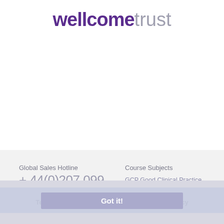[Figure (logo): Wellcome Trust logo — 'wellcome' in bold purple and 'trust' in light grey]
Global Sales Hotline
+ 44(0)207 099 7432
Global Support Line
+ 44(0)207 099 2015
Course Subjects
GCP Good Clinical Practice
Good Pharmacovigilance Practice
Good Distribution Practice GDP
Course/Exam Demo
This website uses cookies to ensure that you get the best experience. Learn more
Got it!
Terms & Conditions    Privacy Policy